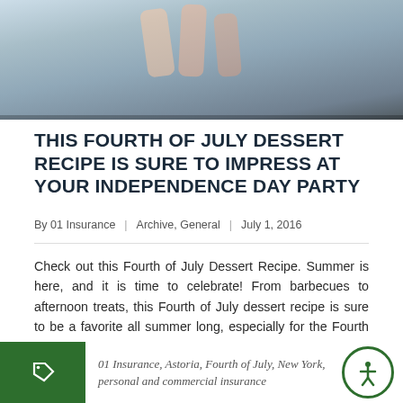[Figure (photo): Photo of popsicles/ice cream bars on a wooden board with raspberries on a blue-gray background]
THIS FOURTH OF JULY DESSERT RECIPE IS SURE TO IMPRESS AT YOUR INDEPENDENCE DAY PARTY
By 01 Insurance  |  Archive, General  |  July 1, 2016
Check out this Fourth of July Dessert Recipe. Summer is here, and it is time to celebrate! From barbecues to afternoon treats, this Fourth of July dessert recipe is sure to be a favorite all summer long, especially for the Fourth of July. Get ready for your Independence Day soirée and check out this festiveRead More
01 Insurance, Astoria, Fourth of July, New York, personal and commercial insurance